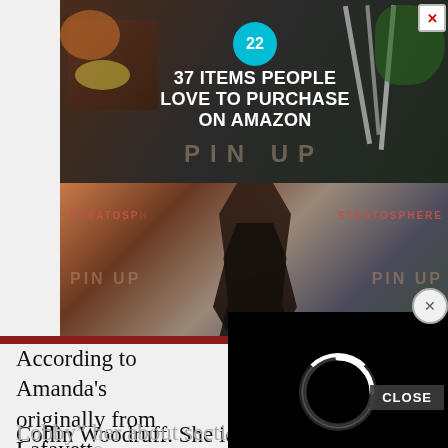[Figure (screenshot): Advertisement banner showing food/kitchen items with text '37 ITEMS PEOPLE LOVE TO PURCHASE ON AMAZON' with a teal badge showing '22', overlaid on dark background with knife and food imagery. Below is a fashion/pin-up image with 'STRATOSPHERE' text and 'PIN UP' watermark text repeated.]
According to Amanda's [partially obscured] originally from Lafayette [partially obscured] is Todd Woodruff and brothers Justin and Collin Woodruff. She identified herself as “Head of Needlework Dept. at Hobby Lobby” her about section reads